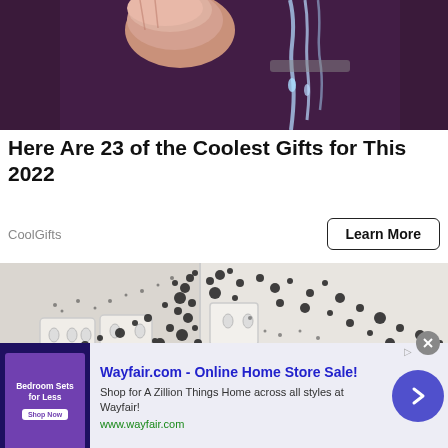[Figure (photo): Close-up of a hand/thumb touching a running water faucet against a dark purple background]
Here Are 23 of the Coolest Gifts for This 2022
CoolGifts
Learn More
[Figure (photo): Wall corner covered with black mold spots near electrical outlets]
[Figure (infographic): Wayfair.com advertisement banner: Wayfair.com - Online Home Store Sale! Shop for A Zillion Things Home across all styles at Wayfair! www.wayfair.com]